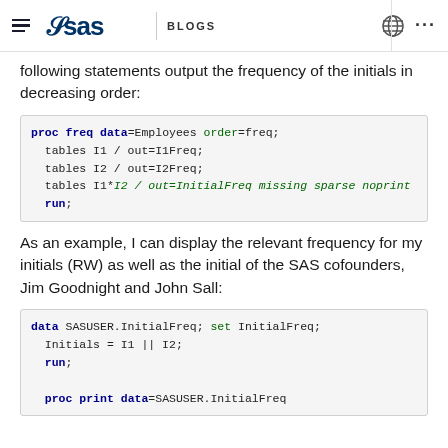SAS Blogs
following statements output the frequency of the initials in decreasing order:
As an example, I can display the relevant frequency for my initials (RW) as well as the initial of the SAS cofounders, Jim Goodnight and John Sall: